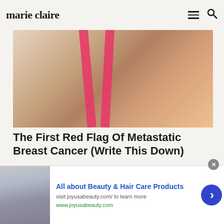marie claire
[Figure (photo): Woman in a dark sports bra with pink straps, holding her chest area with both hands, suggesting breast pain or discomfort, photographed against a light background.]
The First Red Flag Of Metastatic Breast Cancer (Write This Down)
Metastatic Breast Cancer | Search Ads | Sponsored
[Figure (photo): Partial view of a person with dark hair holding a water bottle, blurred background with green foliage, appears to be part of a health/fitness article.]
All about Beauty & Hair Care Products
visit joyusabeauty.com/ to learn more
www.joyusabeauty.com